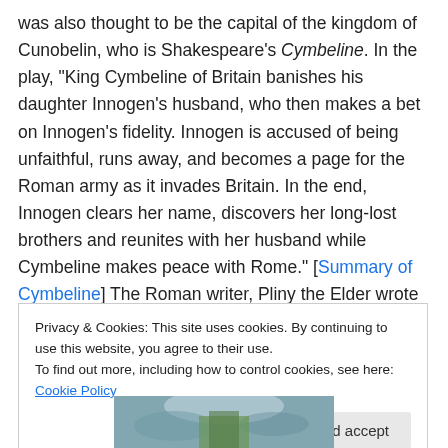was also thought to be the capital of the kingdom of Cunobelin, who is Shakespeare's Cymbeline. In the play, “King Cymbeline of Britain banishes his daughter Innogen’s husband, who then makes a bet on Innogen’s fidelity. Innogen is accused of being unfaithful, runs away, and becomes a page for the Roman army as it invades Britain. In the end, Innogen clears her name, discovers her long-lost brothers and reunites with her husband while Cymbeline makes peace with Rome.” [Summary of Cymbeline] The Roman writer, Pliny the Elder wrote of island of Anglesey. “It is about 200 miles from
Privacy & Cookies: This site uses cookies. By continuing to use this website, you agree to their use.
To find out more, including how to control cookies, see here: Cookie Policy
Close and accept
[Figure (photo): Partial view of a photo at the bottom of the page, showing what appears to be an outdoor landscape scene.]